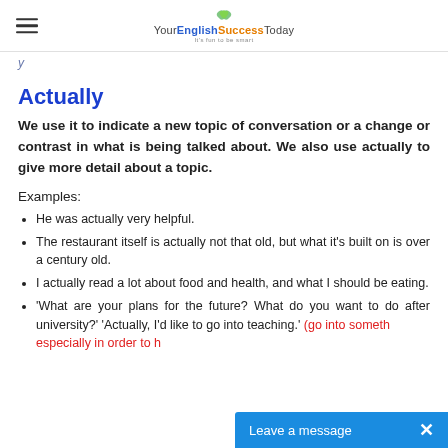Your English Success Today
y
Actually
We use it to indicate a new topic of conversation or a change or contrast in what is being talked about. We also use actually to give more detail about a topic.
Examples:
He was actually very helpful.
The restaurant itself is actually not that old, but what it's built on is over a century old.
I actually read a lot about food and health, and what I should be eating.
'What are your plans for the future? What do you want to do after university?' 'Actually, I'd like to go into teaching.' (go into someth... especially in order to h...